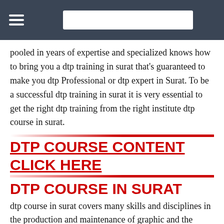[Navigation bar with hamburger menu and search box]
pooled in years of expertise and specialized knows how to bring you a dtp training in surat that's guaranteed to make you dtp Professional or dtp expert in Surat. To be a successful dtp training in surat it is very essential to get the right dtp training from the right institute dtp course in surat.
DTP COURSE CONTENT CLICK HERE
DTP COURSE IN SURAT
dtp course in surat covers many skills and disciplines in the production and maintenance of graphic and the